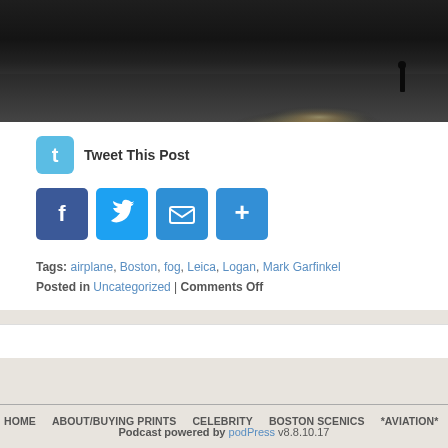[Figure (photo): Black and white photograph of a foggy waterfront or airfield scene with a bright light reflection on a wet surface and a distant figure silhouette on the right]
Tweet This Post
[Figure (infographic): Social share buttons: Facebook (F), Twitter (bird), Email (envelope), Plus (+)]
Tags: airplane, Boston, fog, Leica, Logan, Mark Garfinkel
Posted in Uncategorized | Comments Off
HOME  ABOUT/BUYING PRINTS  CELEBRITY  BOSTON SCENICS  *AVIATION*
Podcast powered by podPress v8.8.10.17